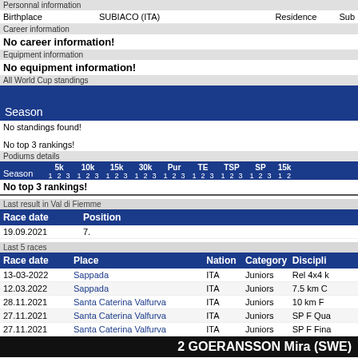Personnal information
|  | Birthplace |  | Residence |  |
| --- | --- | --- | --- | --- |
| Birthplace | SUBIACO (ITA) |  | Residence | Sub |
Career information
No career information!
Equipment information
No equipment information!
All World Cup standings
Season
No standings found!
No top 3 rankings!
Podiums details
| Season | 5k 1 2 3 | 10k 1 2 3 | 15k 1 2 3 | 30k 1 2 3 | Pur 1 2 3 | TE 1 2 3 | TSP 1 2 3 | SP 1 2 3 | 15k 1 2 |
| --- | --- | --- | --- | --- | --- | --- | --- | --- | --- |
| No top 3 rankings! |  |  |  |  |  |  |  |  |  |
Last result in Val di Fiemme
| Race date | Position |
| --- | --- |
| 19.09.2021 | 7. |
Last 5 races
| Race date | Place | Nation | Category | Discipli |
| --- | --- | --- | --- | --- |
| 13-03-2022 | Sappada | ITA | Juniors | Rel 4x4 k |
| 12.03.2022 | Sappada | ITA | Juniors | 7.5 km C |
| 28.11.2021 | Santa Caterina Valfurva | ITA | Juniors | 10 km F |
| 27.11.2021 | Santa Caterina Valfurva | ITA | Juniors | SP F Qua |
| 27.11.2021 | Santa Caterina Valfurva | ITA | Juniors | SP F Fina |
2 GOERANSSON Mira (SWE)